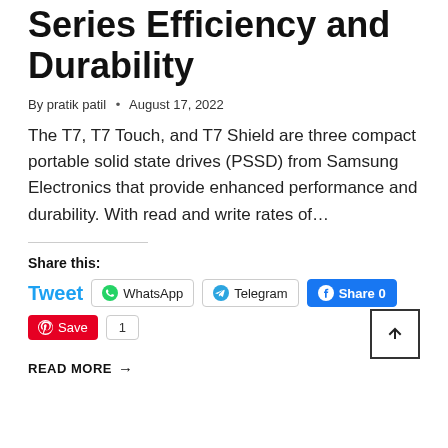Series Efficiency and Durability
By pratik patil • August 17, 2022
The T7, T7 Touch, and T7 Shield are three compact portable solid state drives (PSSD) from Samsung Electronics that provide enhanced performance and durability. With read and write rates of…
Share this: Tweet WhatsApp Telegram Share 0 Save 1 READ MORE →